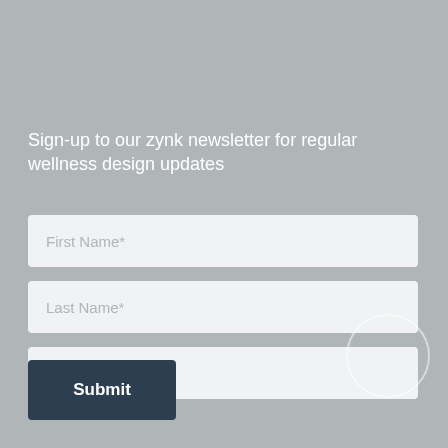Sign-up to our zynk newsletter for regular wellness design updates
First Name*
Last Name*
Email Address*
Submit